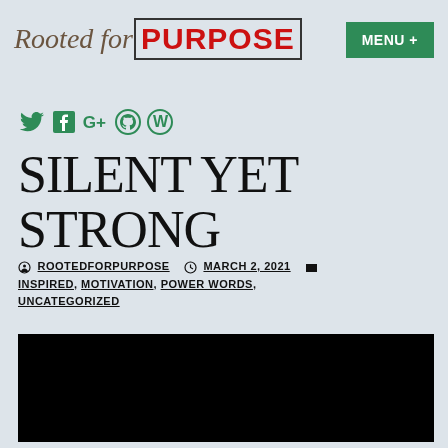Rooted for PURPOSE   MENU +
[Figure (infographic): Social media icons row: Twitter bird, Facebook F, Google+ G+, GitHub Octocat, WordPress W — all in green]
SILENT YET STRONG
ROOTEDFORPURPOSE  MARCH 2, 2021  INSPIRED, MOTIVATION, POWER WORDS, UNCATEGORIZED
[Figure (photo): Mostly black/dark image area at bottom of page]